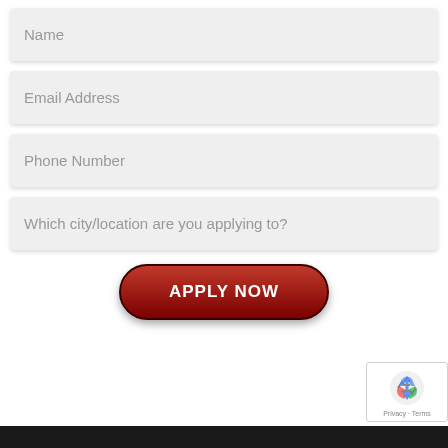Name
Email Address
Phone Number
Which city/location are you applying to?
APPLY NOW
[Figure (logo): reCAPTCHA badge with recycling-arrow logo and Privacy · Terms text]